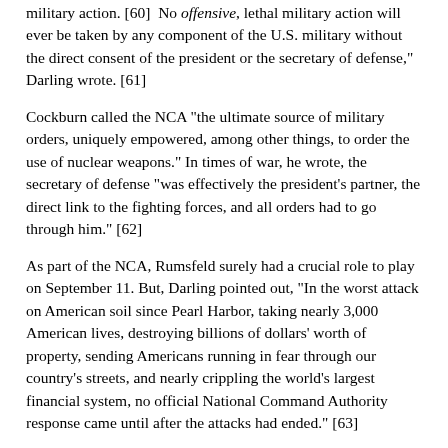military action. [60]  No offensive, lethal military action will ever be taken by any component of the U.S. military without the direct consent of the president or the secretary of defense," Darling wrote. [61]
Cockburn called the NCA "the ultimate source of military orders, uniquely empowered, among other things, to order the use of nuclear weapons." In times of war, he wrote, the secretary of defense "was effectively the president's partner, the direct link to the fighting forces, and all orders had to go through him." [62]
As part of the NCA, Rumsfeld surely had a crucial role to play on September 11. But, Darling pointed out, "In the worst attack on American soil since Pearl Harbor, taking nearly 3,000 American lives, destroying billions of dollars' worth of property, sending Americans running in fear through our country's streets, and nearly crippling the world's largest financial system, no official National Command Authority response came until after the attacks had ended." [63]
THE SECRETARY OF DEFENSE HAD A KEY ROLE IN